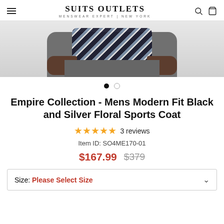SUITS OUTLETS — MENSWEAR EXPERT | NEW YORK
[Figure (photo): Cropped product photo showing a man wearing a black and silver floral sports coat with grey trousers, from chest to waist]
Empire Collection - Mens Modern Fit Black and Silver Floral Sports Coat
★★★★★ 3 reviews
Item ID: SO4ME170-01
$167.99  $379
Size: Please Select Size